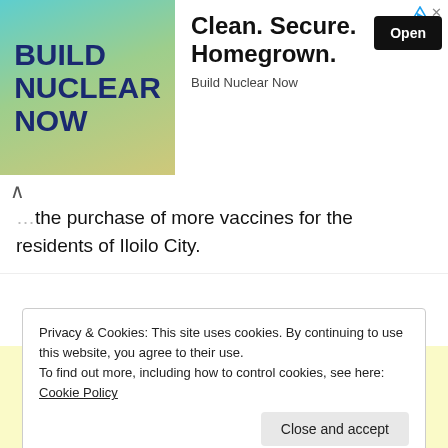[Figure (other): Advertisement banner for 'Build Nuclear Now' with teal/tan background on left showing bold text 'BUILD NUCLEAR NOW', and white right side with headline 'Clean. Secure. Homegrown.' and 'Open' button and source 'Build Nuclear Now']
...the purchase of more vaccines for the residents of Iloilo City.
Privacy & Cookies: This site uses cookies. By continuing to use this website, you agree to their use.
To find out more, including how to control cookies, see here: Cookie Policy
Close and accept